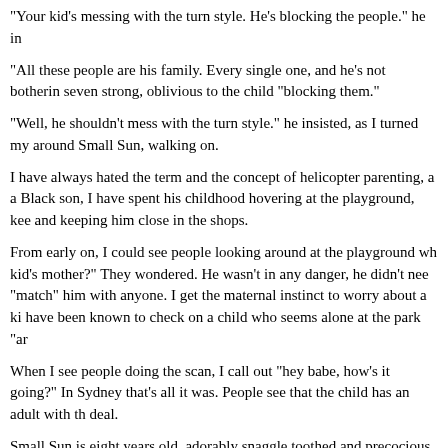"Your kid's messing with the turn style. He's blocking the people." he in
"All these people are his family. Every single one, and he's not botherin seven strong, oblivious to the child "blocking them."
"Well, he shouldn't mess with the turn style." he insisted, as I turned my around Small Sun, walking on.
I have always hated the term and the concept of helicopter parenting, a a Black son, I have spent his childhood hovering at the playground, kee and keeping him close in the shops.
From early on, I could see people looking around at the playground wh kid's mother?" They wondered. He wasn't in any danger, he didn't nee "match" him with anyone. I get the maternal instinct to worry about a ki have been known to check on a child who seems alone at the park "ar
When I see people doing the scan, I call out "hey babe, how's it going?" In Sydney that's all it was. People see that the child has an adult with th deal.
Small Sun is eight years old, adorably snaggle toothed and precocious mothers with Black children talk about the day it changes - the day thei perceived threat - someone to be followed in the store, someone to av who might not want to walk around at night wearing a hoodie.